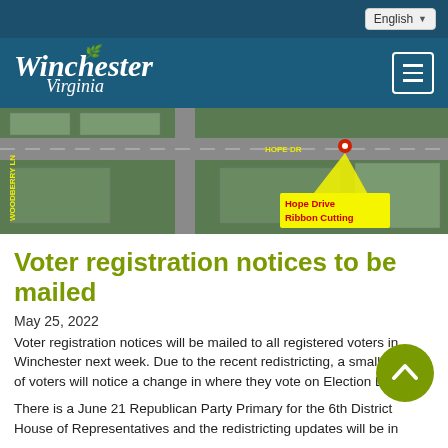English
[Figure (logo): Winchester Virginia city logo with leaf icon on dark teal/blue header background, hamburger menu button on right]
[Figure (map): Aerial/satellite map showing Hope Drive and Woodberry Lane intersection with a red location pin and yellow callout label reading 'Hope Drive Ribbon Cutting']
Voter registration notices to be mailed
May 25, 2022
Voter registration notices will be mailed to all registered voters in Winchester next week. Due to the recent redistricting, a small number of voters will notice a change in where they vote on Election Day.
There is a June 21 Republican Party Primary for the 6th District House of Representatives and the redistricting updates will be in